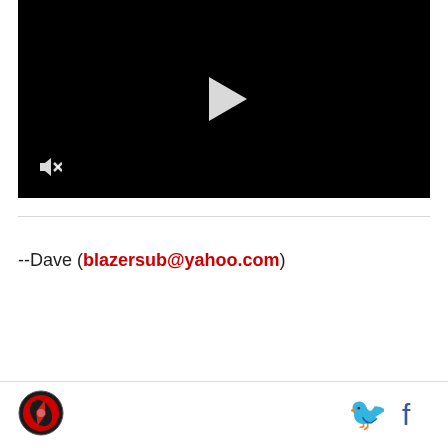[Figure (screenshot): Black video player with white play button in center and mute icon in bottom left corner]
--Dave (blazersub@yahoo.com)
All Times are Pacific
[Figure (logo): Circular sports team logo with red and black design]
[Figure (other): Twitter bird icon and Facebook icon in footer]